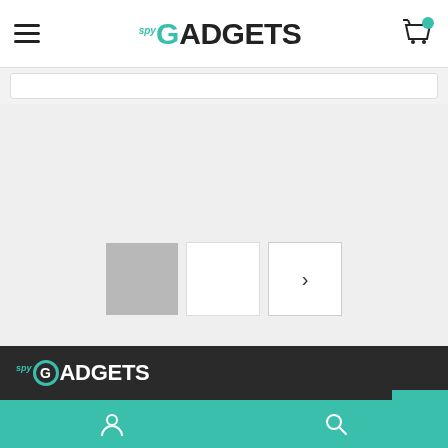[Figure (screenshot): SpyGadgets website header with hamburger menu, logo, and cart icon]
[Figure (screenshot): Product image thumbnails row with gray placeholder and next arrow]
[Figure (logo): SpyGadgets footer logo in white and teal on dark background]
[Figure (screenshot): Footer with location and phone icons, back-to-top button, and bottom navigation bar with user and search icons]